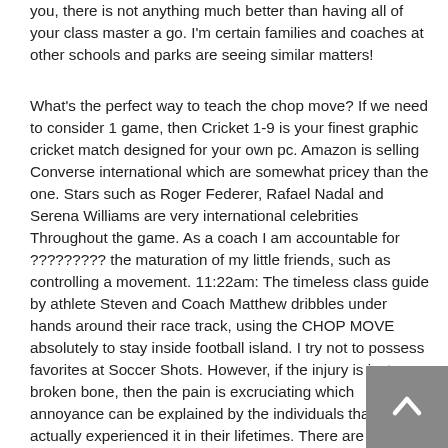you, there is not anything much better than having all of your class master a go. I'm certain families and coaches at other schools and parks are seeing similar matters!
What's the perfect way to teach the chop move? If we need to consider 1 game, then Cricket 1-9 is your finest graphic cricket match designed for your own pc. Amazon is selling Converse international which are somewhat pricey than the one. Stars such as Roger Federer, Rafael Nadal and Serena Williams are very international celebrities Throughout the game. As a coach I am accountable for ????????? the maturation of my little friends, such as controlling a movement. 11:22am: The timeless class guide by athlete Steven and Coach Matthew dribbles under hands around their race track, using the CHOP MOVE absolutely to stay inside football island. I try not to possess favorites at Soccer Shots. However, if the injury is just a broken bone, then the pain is excruciating which annoyance can be explained by the individuals that have actually experienced it in their lifetimes. There are undoubtedly a few games I enjoy better (because they often run simpler), a few personality words are simpler to explain, and a few weeks the